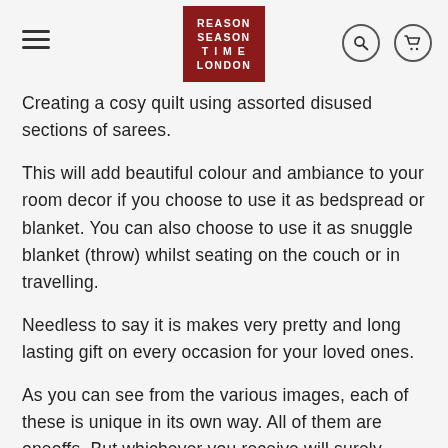REASON SEASON TIME LONDON
Creating a cosy quilt using assorted disused sections of sarees.
This will add beautiful colour and ambiance to your room decor if you choose to use it as bedspread or blanket. You can also choose to use it as snuggle blanket (throw) whilst seating on the couch or in travelling.
Needless to say it is makes very pretty and long lasting gift on every occasion for your loved ones.
As you can see from the various images, each of these is unique in its own way. All of them are oneoffs. But whichever you receive will surely delight your senses and elevate your living space to the next level.